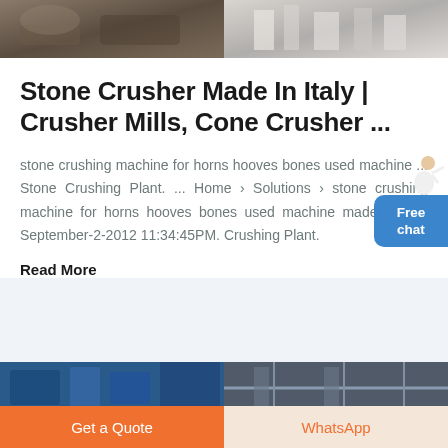[Figure (photo): Two photos at top: left shows outdoor stone/terrain scene, right shows industrial white equipment/machinery]
Stone Crusher Made In Italy | Crusher Mills, Cone Crusher ...
stone crushing machine for horns hooves bones used machine ... Stone Crushing Plant. ... Home › Solutions › stone crushing machine for horns hooves bones used machine made in italy September-2-2012 11:34:45PM. Crushing Plant.
Read More
[Figure (photo): Two photos at bottom: left shows blue industrial crusher machinery, right shows industrial bridge/conveyor structure]
Get a Quote
WhatsApp